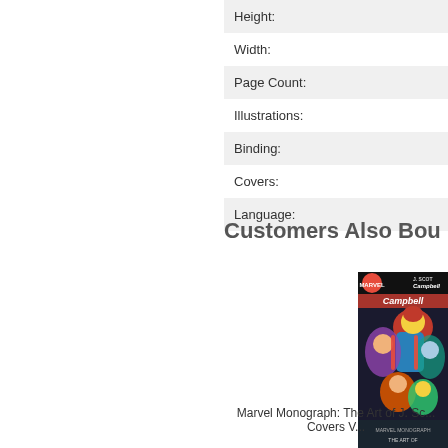| Height: |
| Width: |
| Page Count: |
| Illustrations: |
| Binding: |
| Covers: |
| Language: |
Customers Also Bou...
[Figure (illustration): Comic book cover for Marvel Monograph: The Art of J. Scott Campbell, showing multiple superhero characters in dynamic poses with red and blue coloring]
Marvel Monograph: The Art of J. Sc... Covers V...